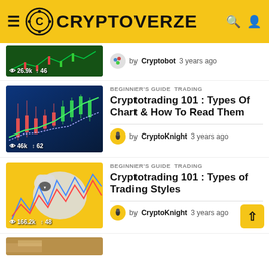CRYPTOVERZE
[Figure (screenshot): Partial article thumbnail with green chart background, stats showing 26.9k views and 46 interactions]
by Cryptobot 3 years ago
[Figure (screenshot): Article thumbnail showing candlestick chart on blue background, stats 46k views and 62 interactions]
BEGINNER'S GUIDE   TRADING
Cryptotrading 101 : Types Of Chart & How To Read Them
by CryptoKnight 3 years ago
[Figure (screenshot): Article thumbnail showing bull vs bear illustration on yellow background, stats 166.2k views and 48 interactions]
BEGINNER'S GUIDE   TRADING
Cryptotrading 101 : Types of Trading Styles
by CryptoKnight 3 years ago